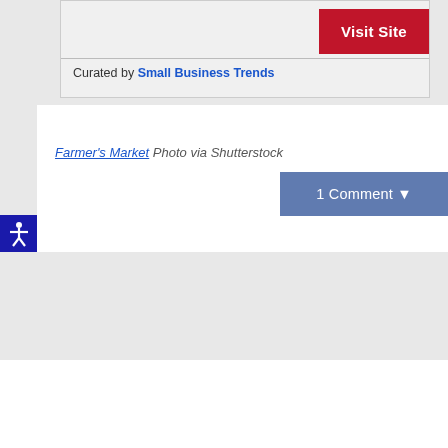[Figure (other): Visit Site red button in top right of card area]
Curated by Small Business Trends
Farmer's Market Photo via Shutterstock
1 Comment ▼
[Figure (other): Accessibility icon (person with arms out) on dark blue background]